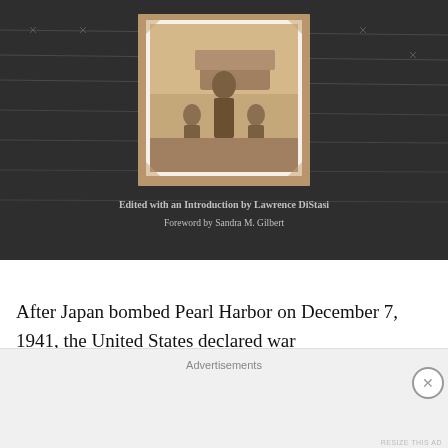[Figure (photo): Book cover showing a dark background with barbed wire, a sepia-toned family photograph inset (man standing behind two children next to a car), with text credits below reading 'Edited with an Introduction by Lawrence DiStasi' and 'Foreword by Sandra M. Gilbert']
After Japan bombed Pearl Harbor on December 7, 1941, the United States declared war and began targeting those of German, Italian or Japanese
Advertisements